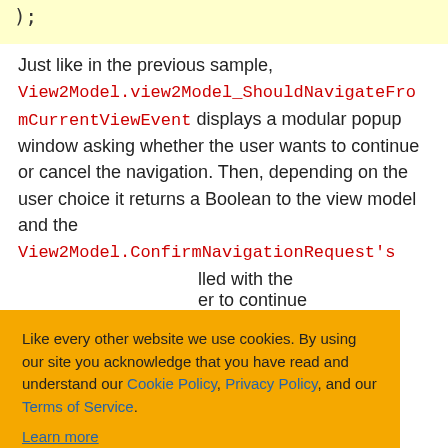);
Just like in the previous sample, View2Model.view2Model_ShouldNavigateFromCurrentViewEvent displays a modular popup window asking whether the user wants to continue or cancel the navigation. Then, depending on the user choice it returns a Boolean to the view model and the View2Model.ConfirmNavigationRequest's
Like every other website we use cookies. By using our site you acknowledge that you have read and understand our Cookie Policy, Privacy Policy, and our Terms of Service. Learn more
Ask me later  Decline  Allow cookies
INavigationAware or